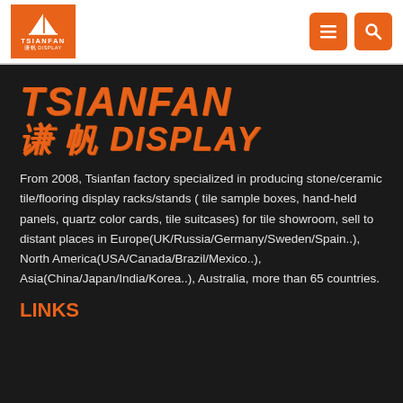[Figure (logo): Tsianfan Display logo with orange sailboat icon and nav menu/search icons]
TSIANFAN 谦帆 DISPLAY
From 2008, Tsianfan factory specialized in producing stone/ceramic tile/flooring display racks/stands ( tile sample boxes, hand-held panels, quartz color cards, tile suitcases) for tile showroom, sell to distant places in Europe(UK/Russia/Germany/Sweden/Spain..), North America(USA/Canada/Brazil/Mexico..), Asia(China/Japan/India/Korea..), Australia, more than 65 countries.
LINKS